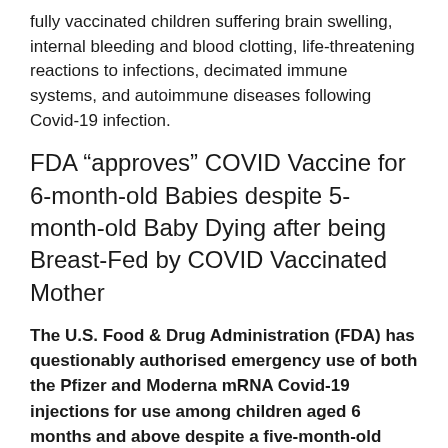fully vaccinated children suffering brain swelling, internal bleeding and blood clotting, life-threatening reactions to infections, decimated immune systems, and autoimmune diseases following Covid-19 infection.
FDA “approves” COVID Vaccine for 6-month-old Babies despite 5-month-old Baby Dying after being Breast-Fed by COVID Vaccinated Mother
The U.S. Food & Drug Administration (FDA) has questionably authorised emergency use of both the Pfizer and Moderna mRNA Covid-19 injections for use among children aged 6 months and above despite a five-month-old baby tragically dying after becoming seriously ill within hours of his mother receiving a dose of the experimental Pfizer / BioNTech Covid